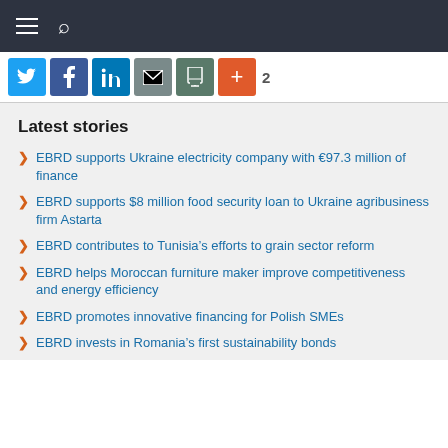Navigation bar with hamburger menu and search icon
[Figure (infographic): Social share buttons: Twitter, Facebook, LinkedIn, Email, Print, Plus, and a share count of 2]
Latest stories
EBRD supports Ukraine electricity company with €97.3 million of finance
EBRD supports $8 million food security loan to Ukraine agribusiness firm Astarta
EBRD contributes to Tunisia's efforts to grain sector reform
EBRD helps Moroccan furniture maker improve competitiveness and energy efficiency
EBRD promotes innovative financing for Polish SMEs
EBRD invests in Romania's first sustainability bonds